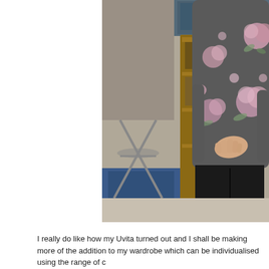[Figure (photo): A person wearing a grey floral sweatshirt with pink roses and black trousers, standing indoors near a wooden shelving unit and a folding metal chair. A hand is placed on the torso/stomach area. An umbrella is visible in the background.]
I really do like how my Uvita turned out and I shall be making more of the addition to my wardrobe which can be individualised using the range of c